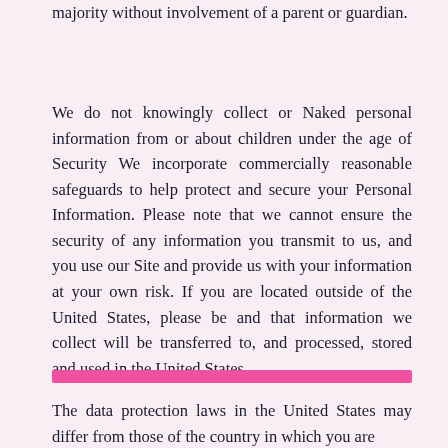majority without involvement of a parent or guardian.
We do not knowingly collect or Naked personal information from or about children under the age of Security We incorporate commercially reasonable safeguards to help protect and secure your Personal Information. Please note that we cannot ensure the security of any information you transmit to us, and you use our Site and provide us with your information at your own risk. If you are located outside of the United States, please be and that information we collect will be transferred to, and processed, stored and used in the United States.
[Figure (other): Pink horizontal divider bar]
The data protection laws in the United States may differ from those of the country in which you are